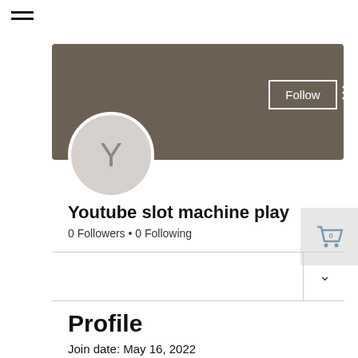[Figure (screenshot): Hamburger menu icon (three horizontal lines) at top left]
[Figure (screenshot): Dark brownish-gray profile banner background]
[Figure (screenshot): Follow button with white border inside the banner]
[Figure (screenshot): Avatar circle with letter Y]
[Figure (screenshot): Shopping cart icon with 0 badge in gray box top right]
Youtube slot machine play
0 Followers • 0 Following
Profile
Join date: May 16, 2022
About